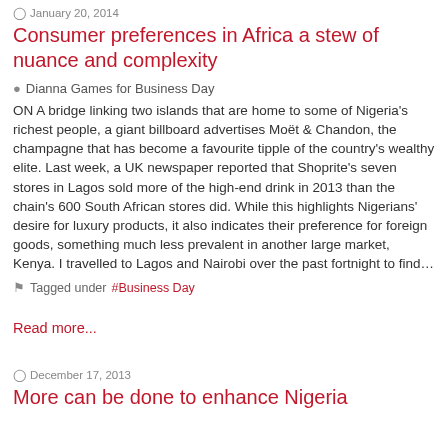January 20, 2014
Consumer preferences in Africa a stew of nuance and complexity
Dianna Games for Business Day
ON A bridge linking two islands that are home to some of Nigeria's richest people, a giant billboard advertises Moët & Chandon, the champagne that has become a favourite tipple of the country's wealthy elite. Last week, a UK newspaper reported that Shoprite's seven stores in Lagos sold more of the high-end drink in 2013 than the chain's 600 South African stores did. While this highlights Nigerians' desire for luxury products, it also indicates their preference for foreign goods, something much less prevalent in another large market, Kenya. I travelled to Lagos and Nairobi over the past fortnight to find…
Tagged under #Business Day
Read more...
December 17, 2013
More can be done to enhance Nigeria